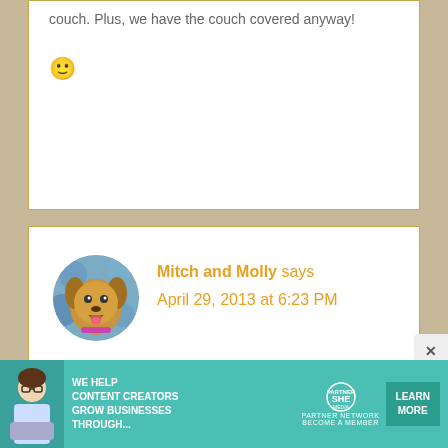couch. Plus, we have the couch covered anyway! 🙂
[Figure (photo): Circular avatar photo of a golden/Airedale terrier dog with pink collar against blue floral background]
Mitch and Molly says
April 29, 2013 at 6:23 PM
We aren't allowed on the couch so we have no idea what we're missing. Our mom is evil!

Love ya lots,
Mitch and Molly
[Figure (infographic): Advertisement banner: teal background with woman photo, text 'WE HELP CONTENT CREATORS GROW BUSINESSES THROUGH...' and SHE Media Partner Network logo with LEARN MORE button]